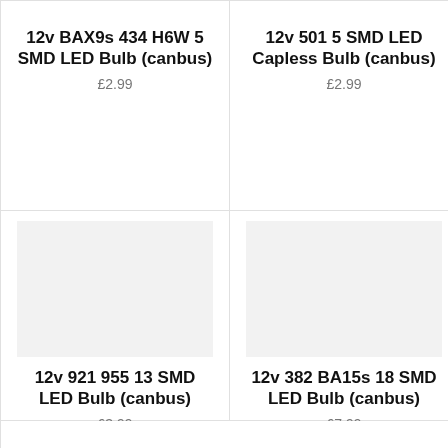12v BAX9s 434 H6W 5 SMD LED Bulb (canbus)
£2.99
12v 501 5 SMD LED Capless Bulb (canbus)
£2.99
[Figure (photo): Product image placeholder for 12v 921 955 13 SMD LED Bulb (canbus)]
12v 921 955 13 SMD LED Bulb (canbus)
£3.99
[Figure (photo): Product image placeholder for 12v 382 BA15s 18 SMD LED Bulb (canbus)]
12v 382 BA15s 18 SMD LED Bulb (canbus)
£7.99